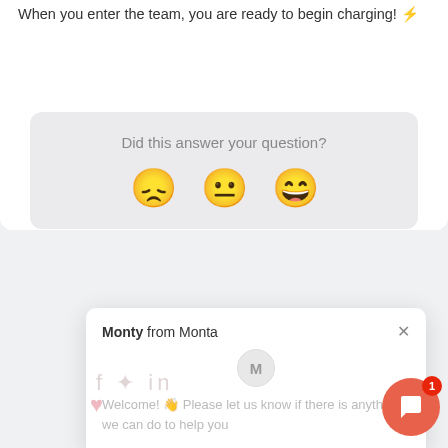When you enter the team, you are ready to begin charging! ⚡
[Figure (screenshot): Feedback widget with text 'Did this answer your question?' and three emoji faces: disappointed, neutral, and happy]
[Figure (screenshot): Chat popup from 'Monty from Monta' with message 'Welcome! 👋 Please let us know if there is anything we can do to help you' and a red chat launcher button with badge showing 1]